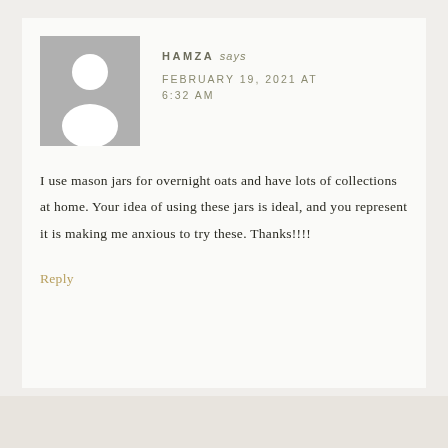[Figure (illustration): Generic grey avatar/silhouette placeholder image — grey square background with white person icon (head circle and shoulders shape)]
HAMZA says
FEBRUARY 19, 2021 AT 6:32 AM
I use mason jars for overnight oats and have lots of collections at home. Your idea of using these jars is ideal, and you represent it is making me anxious to try these. Thanks!!!!
Reply